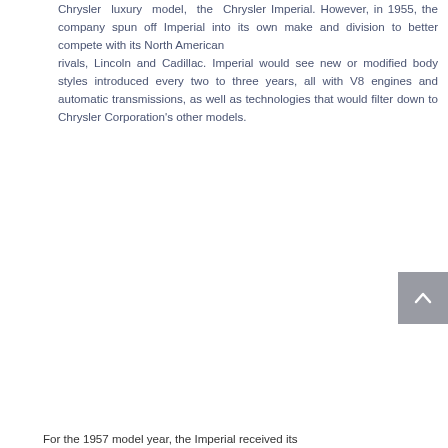Chrysler luxury model, the Chrysler Imperial. However, in 1955, the company spun off Imperial into its own make and division to better compete with its North American rivals, Lincoln and Cadillac. Imperial would see new or modified body styles introduced every two to three years, all with V8 engines and automatic transmissions, as well as technologies that would filter down to Chrysler Corporation's other models.
For the 1957 model year, the Imperial received its